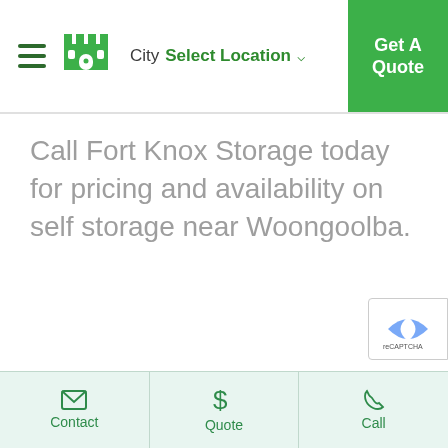City Select Location ▾ | Get A Quote
Call Fort Knox Storage today for pricing and availability on self storage near Woongoolba.
Contact | Quote | Call